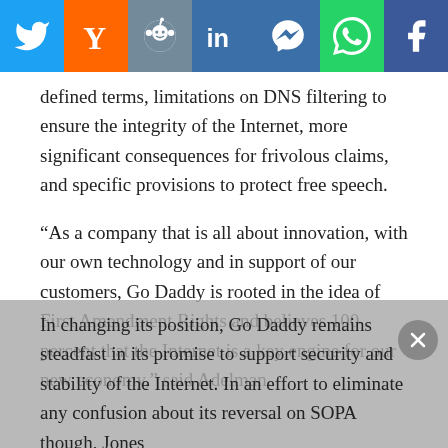[Figure (other): Social sharing bar with icons for Twitter, Hacker News (Y), Reddit, LinkedIn, Facebook Messenger, WhatsApp, and Facebook]
defined terms, limitations on DNS filtering to ensure the integrity of the Internet, more significant consequences for frivolous claims, and specific provisions to protect free speech.
“As a company that is all about innovation, with our own technology and in support of our customers, Go Daddy is rooted in the idea of First Amendment Rights and believes 100 percent that the Internet is a key engine for our new economy,” said Adelman.
In changing its position, Go Daddy remains steadfast in its promise to support security and stability of the Internet. In an effort to eliminate any confusion about its reversal on SOPA though, Jones